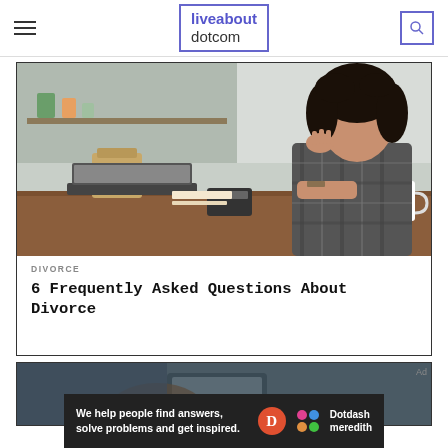liveabout dotcom
[Figure (photo): Woman with curly dark hair sitting at a kitchen table looking at a laptop, resting her cheek on her hand, wearing a plaid shirt and watch, with a coffee mug and calculator on the table]
DIVORCE
6 Frequently Asked Questions About Divorce
[Figure (photo): Partial view of a hand holding a mobile phone, blurred background]
We help people find answers, solve problems and get inspired.
Dotdash meredith